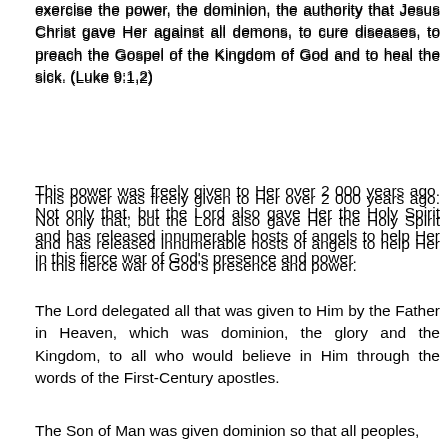exercise the power, the dominion, the authority that Jesus Christ gave Her against all demons, to cure diseases, to preach the Gospel of the Kingdom of God and to heal the sick. (Luke 9:1,2)
This power was freely given to Her over 2 000 years ago. Not only that, but the Lord also gave Her the Holy Spirit and has released innumerable hosts of angels to help Her in this fierce war of God's presence and power.
The Lord delegated all that was given to Him by the Father in Heaven, which was dominion, the glory and the Kingdom, to all who would believe in Him through the words of the First-Century apostles.
The Son of Man was given dominion so that all peoples, nations and languages should serve Him. He delegated His dominion and His glory to believers so that there might be unity in the Church.
He gave them the Kingdom so that even in times of shaking, like now, they would remain standing and would continue to carry out the commission He gave to them — to disciple the